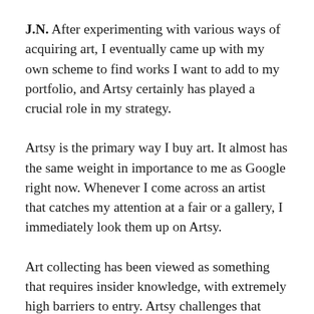J.N. After experimenting with various ways of acquiring art, I eventually came up with my own scheme to find works I want to add to my portfolio, and Artsy certainly has played a crucial role in my strategy.
Artsy is the primary way I buy art. It almost has the same weight in importance to me as Google right now. Whenever I come across an artist that catches my attention at a fair or a gallery, I immediately look them up on Artsy.
Art collecting has been viewed as something that requires insider knowledge, with extremely high barriers to entry. Artsy challenges that status quo. It is an incredible playground for galleries and collectors alike. With a few taps, clicks, and scrolls, you get immediate exposure to a myriad of fascinating works by diverse talents. It creates opportunities for everyone by allowing